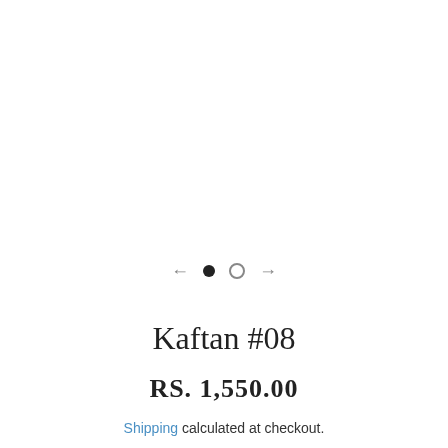[Figure (other): Product image carousel with navigation arrows and dot indicators showing two dots (one filled, one empty) and left/right arrows]
Kaftan #08
RS. 1,550.00
Shipping calculated at checkout.